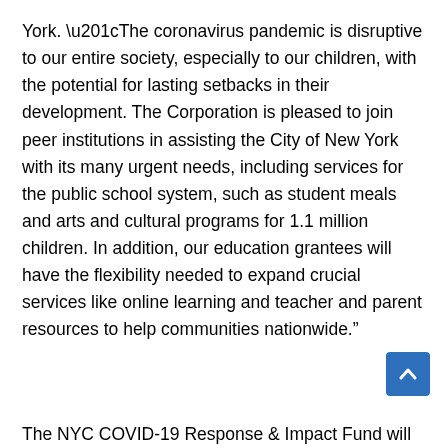York. “The coronavirus pandemic is disruptive to our entire society, especially to our children, with the potential for lasting setbacks in their development. The Corporation is pleased to join peer institutions in assisting the City of New York with its many urgent needs, including services for the public school system, such as student meals and arts and cultural programs for 1.1 million children. In addition, our education grantees will have the flexibility needed to expand crucial services like online learning and teacher and parent resources to help communities nationwide.”
The NYC COVID-19 Response & Impact Fund will